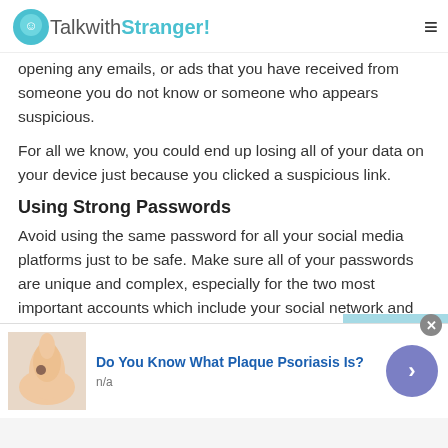TalkwithStranger!
opening any emails, or ads that you have received from someone you do not know or someone who appears suspicious.
For all we know, you could end up losing all of your data on your device just because you clicked a suspicious link.
Using Strong Passwords
Avoid using the same password for all your social media platforms just to be safe. Make sure all of your passwords are unique and complex, especially for the two most important accounts which include your social network and
[Figure (infographic): Advertisement banner: image of a hand with a skin blemish, ad title 'Do You Know What Plaque Psoriasis Is?', subtitle 'n/a', with close button and navigation arrow]